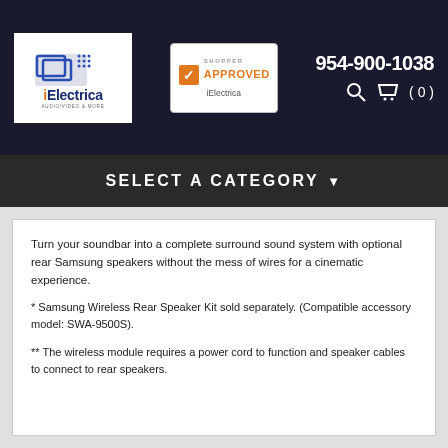[Figure (logo): iElectrica logo - blue rectangle icon with white monitors and blue text 'iElectrica' and subtitle 'AUDIO/VIDEO & MORE']
[Figure (logo): Shopper Approved badge for iElectrica with orange checkmark logo]
954-900-1038
SELECT A CATEGORY
Turn your soundbar into a complete surround sound system with optional rear Samsung speakers without the mess of wires for a cinematic experience.
* Samsung Wireless Rear Speaker Kit sold separately. (Compatible accessory model: SWA-9500S).
** The wireless module requires a power cord to function and speaker cables to connect to rear speakers.